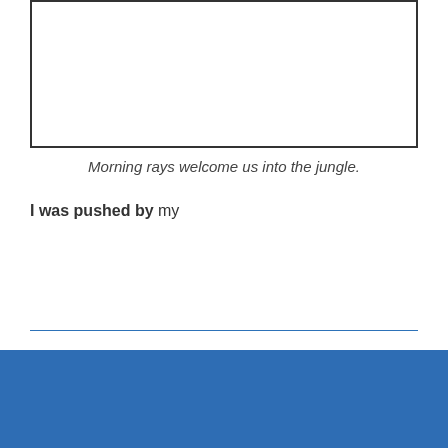[Figure (other): Empty white bordered image box at top of page]
Morning rays welcome us into the jungle.
I was pushed by my
READ MORE »
Tag Cloud
adventure